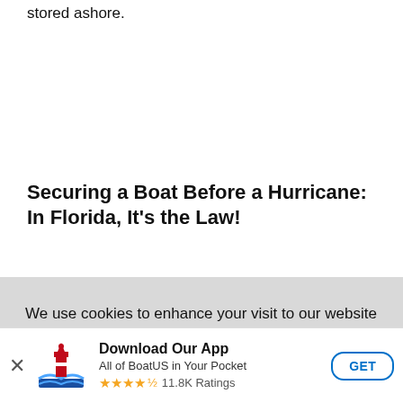stored ashore.
Securing a Boat Before a Hurricane: In Florida, It's the Law!
We use cookies to enhance your visit to our website and to improve your experience. By continuing to use our website, you’re agreeing to our cookie policy.
Privacy Policy & Notice of Collection
Ok
[Figure (logo): BoatUS app icon - red lighthouse with waves]
Download Our App
All of BoatUS in Your Pocket
★★★★½ 11.8K Ratings
GET